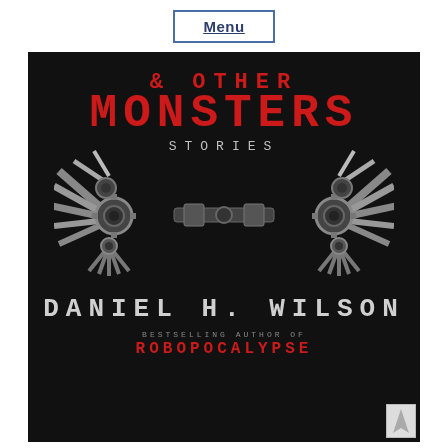Menu
[Figure (illustration): Book cover for '& Other Monsters: Stories' by Daniel H. Wilson, bestselling author of Robopocalypse. Black background with large red text titles and mechanical/robotic wing imagery in the center. Author name in large grey monospace text near bottom.]